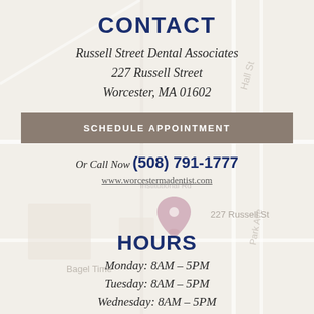CONTACT
Russell Street Dental Associates
227 Russell Street
Worcester, MA 01602
SCHEDULE APPOINTMENT
Or Call Now (508) 791-1777
www.worcestermadentist.com
[Figure (map): Google Maps view centered on 227 Russell St, Worcester, MA with a map pin marker]
HOURS
Monday: 8AM – 5PM
Tuesday: 8AM – 5PM
Wednesday: 8AM – 5PM
Thursday: 8AM – 5PM